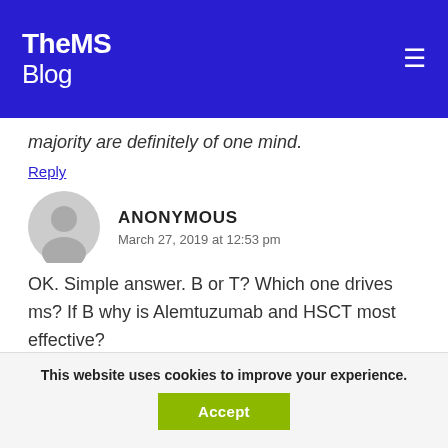TheMS Blog
majority are definitely of one mind.
Reply
ANONYMOUS
March 27, 2019 at 12:53 pm
OK. Simple answer. B or T? Which one drives ms? If B why is Alemtuzumab and HSCT most effective?
This website uses cookies to improve your experience.